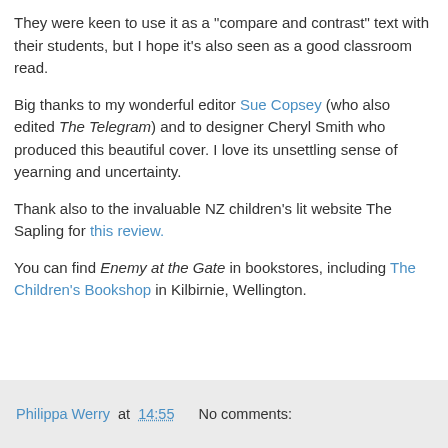They were keen to use it as a "compare and contrast" text with their students, but I hope it's also seen as a good classroom read.
Big thanks to my wonderful editor Sue Copsey (who also edited The Telegram) and to designer Cheryl Smith who produced this beautiful cover. I love its unsettling sense of yearning and uncertainty.
Thank also to the invaluable NZ children's lit website The Sapling for this review.
You can find Enemy at the Gate in bookstores, including The Children's Bookshop in Kilbirnie, Wellington.
Philippa Werry at 14:55   No comments: